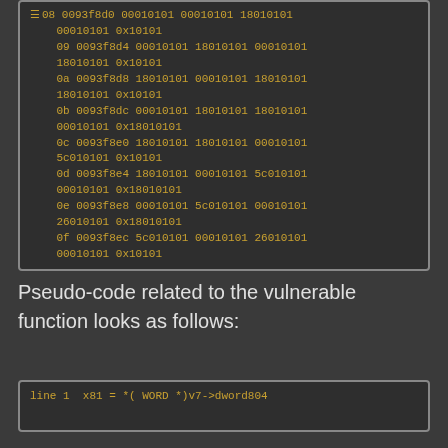08 0093f8d0 00010101 00010101 18010101 00010101 0x10101
09 0093f8d4 00010101 18010101 00010101 18010101 0x10101
0a 0093f8d8 18010101 00010101 18010101 18010101 0x10101
0b 0093f8dc 00010101 18010101 18010101 00010101 0x18010101
0c 0093f8e0 18010101 18010101 00010101 5c010101 0x10101
0d 0093f8e4 18010101 00010101 5c010101 00010101 0x18010101
0e 0093f8e8 00010101 5c010101 00010101 26010101 0x18010101
0f 0093f8ec 5c010101 00010101 26010101 00010101 0x10101
Pseudo-code related to the vulnerable function looks as follows:
line 1  x81 = *( WORD *)v7->dword804